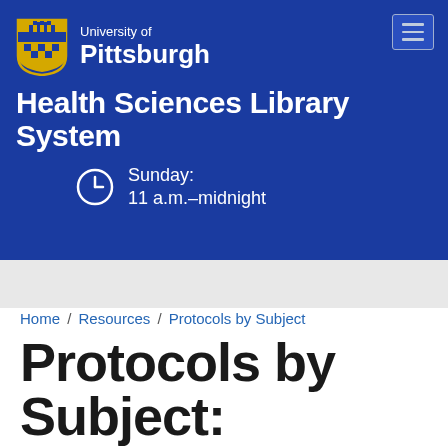[Figure (logo): University of Pittsburgh shield logo and wordmark with Health Sciences Library System header on blue background, with hours showing Sunday: 11 a.m.–midnight]
Home / Resources / Protocols by Subject
Protocols by Subject: Communicable Disease